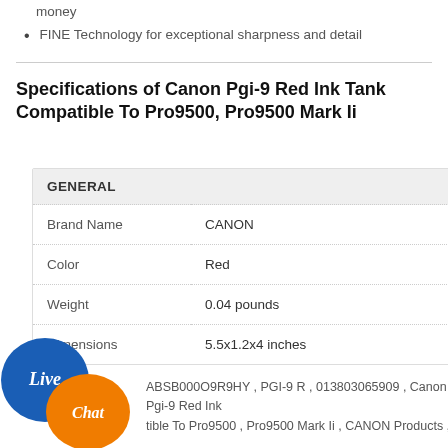money
FINE Technology for exceptional sharpness and detail
Specifications of Canon Pgi-9 Red Ink Tank Compatible To Pro9500, Pro9500 Mark Ii
| GENERAL |  |
| --- | --- |
| Brand Name | CANON |
| Color | Red |
| Weight | 0.04 pounds |
| Dimensions | 5.5x1.2x4 inches |
ABSB000O9R9HY , PGI-9 R , 013803065909 , Canon Pgi-9 Red Ink Compatible To Pro9500 , Pro9500 Mark Ii , CANON Products ,